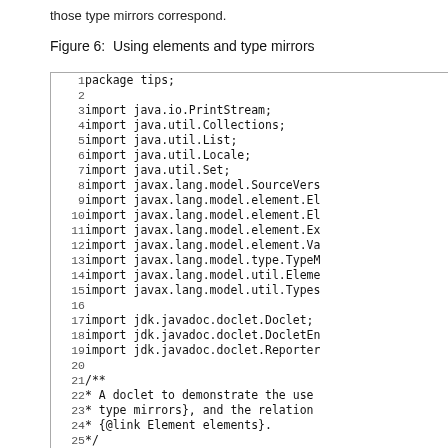those type mirrors correspond.
Figure 6:  Using elements and type mirrors
[Figure (screenshot): Code listing showing Java source file starting with 'package tips;' and imports for java.io.PrintStream, java.util.Collections, java.util.List, java.util.Locale, java.util.Set, javax.lang.model.SourceVersion, javax.lang.model.element.El..., javax.lang.model.element.El..., javax.lang.model.element.Ex..., javax.lang.model.element.Va..., javax.lang.model.type.TypeM..., javax.lang.model.util.Eleme..., javax.lang.model.util.Types..., jdk.javadoc.doclet.Doclet, jdk.javadoc.doclet.DocletEn..., jdk.javadoc.doclet.Reporter..., and a Javadoc comment starting with /** A doclet to demonstrate the use, * type mirrors}, and the relation, * {@link Element elements}., */]